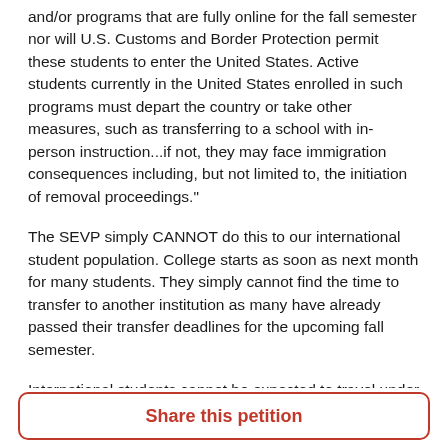and/or programs that are fully online for the fall semester nor will U.S. Customs and Border Protection permit these students to enter the United States. Active students currently in the United States enrolled in such programs must depart the country or take other measures, such as transferring to a school with in-person instruction...if not, they may face immigration consequences including, but not limited to, the initiation of removal proceedings."
The SEVP simply CANNOT do this to our international student population. College starts as soon as next month for many students. They simply cannot find the time to transfer to another institution as many have already passed their transfer deadlines for the upcoming fall semester.
International students cannot be expected to travel under current circumstances. This is inhumane and vile. Many international students chose to stay in the U.S. because traveling back home was risky, or their home countries are
Share this petition